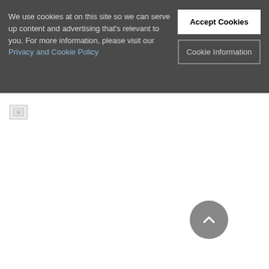Solar Powered Fuels Tria...
[Figure (photo): Broken/loading image thumbnail on the left side]
We use cookies at on this site so we can serve up content and advertising that's relevant to you. For more information, please visit our Privacy and Cookie Policy
Accept Cookies
Cookie Information
[Figure (other): Back-to-top circular button with upward chevron arrow, gray color]